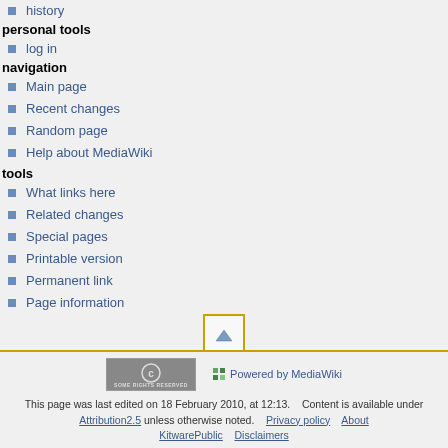history
personal tools
log in
navigation
Main page
Recent changes
Random page
Help about MediaWiki
tools
What links here
Related changes
Special pages
Printable version
Permanent link
Page information
[Figure (other): Scroll to top button with up arrow icon, bordered in orange/yellow]
This page was last edited on 18 February 2010, at 12:13.    Content is available under Attribution2.5 unless otherwise noted.    Privacy policy    About KitwarePublic    Disclaimers